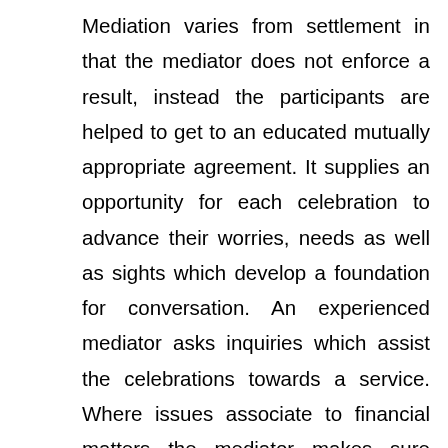Mediation varies from settlement in that the mediator does not enforce a result, instead the participants are helped to get to an educated mutually appropriate agreement. It supplies an opportunity for each celebration to advance their worries, needs as well as sights which develop a foundation for conversation. An experienced mediator asks inquiries which assist the celebrations towards a service. Where issues associate to financial matters the mediator makes sure honest as well as full disclosure of the financial resources and encourages the couple to concentrate on what is best for them and also any kind of youngsters. The mediator is honest and